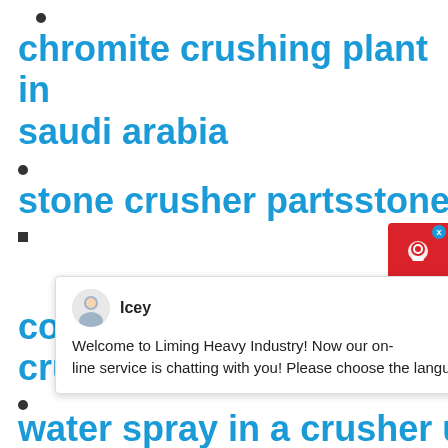chromite crushing plant in saudi arabia
stone crusher partsstone
copper ore used mobile crusher manufacturer
water spray in a crusher unit
[Figure (screenshot): Chat popup from Liming Heavy Industry with avatar named Icey and message: Welcome to Liming Heavy Industry! Now our on-line service is chatting with you! Please choose the language :]
[Figure (other): Red customer support button icon top right corner]
[Figure (other): Blue circle badge with number 1]